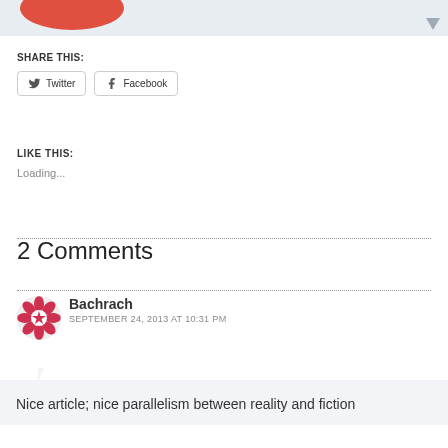[Figure (illustration): Partial red/coral rounded shape visible at top-left corner of banner, and a small grey triangle/arrow at top-right of banner]
SHARE THIS:
Twitter   Facebook
LIKE THIS:
Loading...
2 Comments
[Figure (illustration): Round avatar with decorative red and white geometric/floral pattern for commenter Bachrach]
Bachrach
SEPTEMBER 24, 2013 AT 10:31 PM
Nice article; nice parallelism between reality and fiction